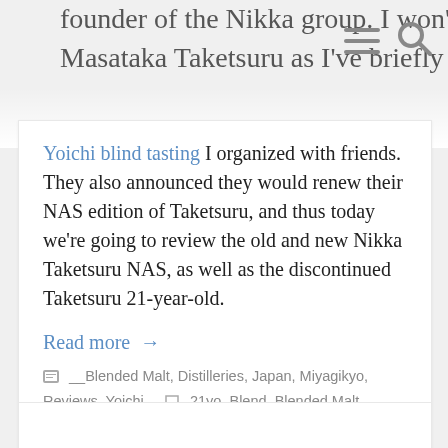founder of the Nikka group. I won't go into the history of Nikka and Masataka Taketsuru as I've briefly covered that previously on the Yoichi blind tasting
Yoichi blind tasting I organized with friends. They also announced they would renew their NAS edition of Taketsuru, and thus today we're going to review the old and new Nikka Taketsuru NAS, as well as the discontinued Taketsuru 21-year-old.
Read more →
__Blended Malt, Distilleries, Japan, Miyagikyo, Reviews, Yoichi   21yo, Blend, Blended Malt, Miyagikyo, NAS, Nikka, Taketsusu, Yoichi
Leave a comment